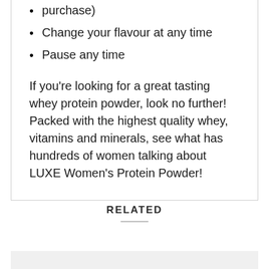purchase)
Change your flavour at any time
Pause any time
If you're looking for a great tasting whey protein powder, look no further! Packed with the highest quality whey, vitamins and minerals, see what has hundreds of women talking about LUXE Women's Protein Powder!
RELATED